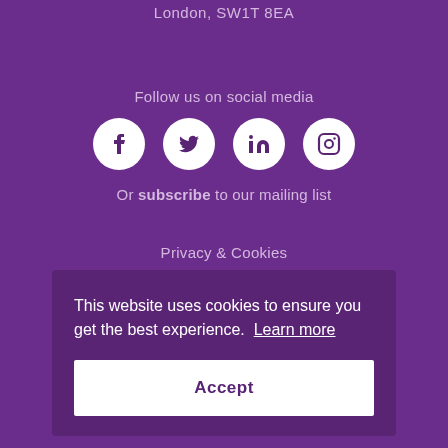London, SW1T 8EA
Follow us on social media
[Figure (other): Four social media icons (Facebook, Twitter, LinkedIn, Instagram) as white circles with dark purple icons]
Or subscribe to our mailing list
Privacy & Cookies
This website uses cookies to ensure you get the best experience. Learn more
Accept